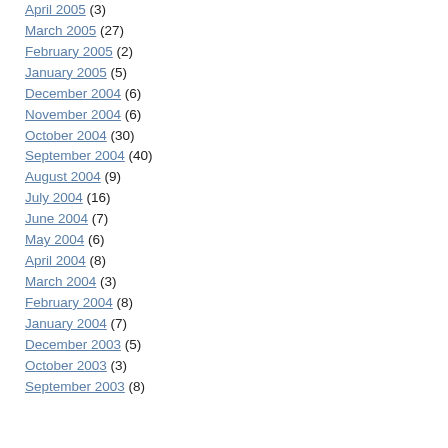April 2005 (3)
March 2005 (27)
February 2005 (2)
January 2005 (5)
December 2004 (6)
November 2004 (6)
October 2004 (30)
September 2004 (40)
August 2004 (9)
July 2004 (16)
June 2004 (7)
May 2004 (6)
April 2004 (8)
March 2004 (3)
February 2004 (8)
January 2004 (7)
December 2003 (5)
October 2003 (3)
September 2003 (8)